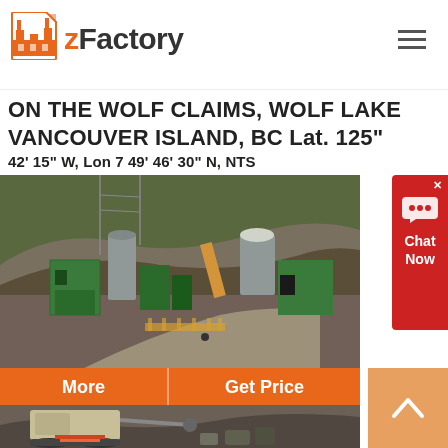zFactory
ON THE WOLF CLAIMS, WOLF LAKE VANCOUVER ISLAND, BC Lat. 125" 42' 15" W, Lon 7 49' 46' 30" N, NTS
[Figure (photo): Industrial mining facility with green buildings, silos, and earthworks on a hillside]
More | Get Price
[Figure (photo): Mobile jaw crusher machine in an open-pit mining site]